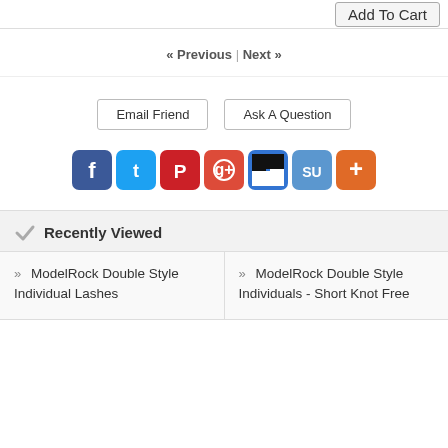Add To Cart
« Previous | Next »
Email Friend
Ask A Question
[Figure (infographic): Row of social media share icons: Facebook (blue), Twitter (blue), Pinterest (red), Google+ (red/yellow), Delicious (black/white), StumbleUpon (blue), AddThis (orange with plus sign)]
Recently Viewed
» ModelRock Double Style Individual Lashes
» ModelRock Double Style Individuals - Short Knot Free